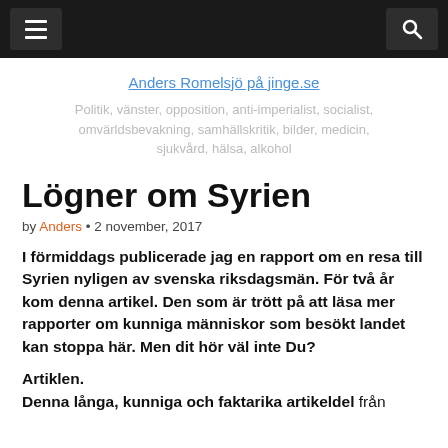[menu] [search]
Anders Romelsjö på jinge.se
Politik, vänster, opposition, anti-imperialist, socialist, omvärldsbevakning, samhällskritik, bilder, medicin, sjukvård, hälsa, alkohol
Lögner om Syrien
by Anders • 2 november, 2017
I förmiddags publicerade jag en rapport om en resa till Syrien nyligen av svenska riksdagsmän. För två år kom denna artikel. Den som är trött på att läsa mer rapporter om kunniga människor som besökt landet kan stoppa här. Men dit hör väl inte Du?
Artiklen.
Denna långa, kunniga och faktarika artikeldel från